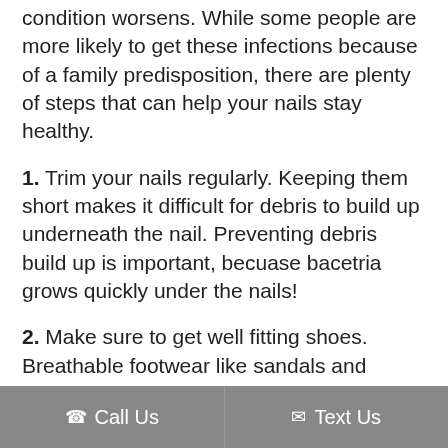condition worsens. While some people are more likely to get these infections because of a family predisposition, there are plenty of steps that can help your nails stay healthy.
1. Trim your nails regularly. Keeping them short makes it difficult for debris to build up underneath the nail. Preventing debris build up is important, becuase bacetria grows quickly under the nails!
2. Make sure to get well fitting shoes. Breathable footwear like sandals and athletic shoes with a wide toe box are ideal. Moisture-
Call Us   Text Us